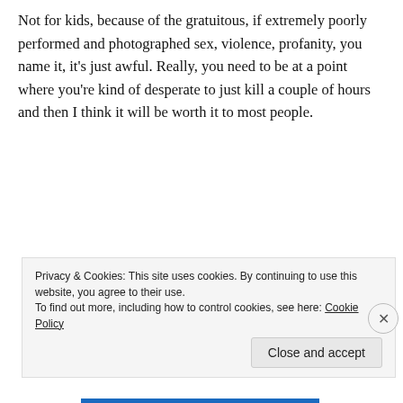Not for kids, because of the gratuitous, if extremely poorly performed and photographed sex, violence, profanity, you name it, it's just awful. Really, you need to be at a point where you're kind of desperate to just kill a couple of hours and then I think it will be worth it to most people.
[Figure (screenshot): Yellow background image with bold black text reading 'Collaborate, P2.' and a WordPress 'Powered by' logo in the bottom right corner.]
Privacy & Cookies: This site uses cookies. By continuing to use this website, you agree to their use.
To find out more, including how to control cookies, see here: Cookie Policy